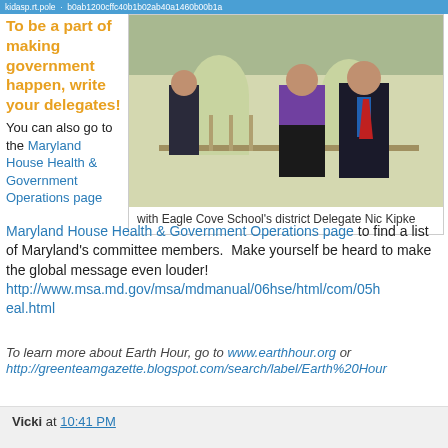kidasp.rt.pole · b0ab1200cffc40b1b02ab40a1460b00b1a
To be a part of making government happen, write your delegates!
You can also go to the Maryland House Health & Government Operations page to find a list of Maryland's committee members. Make yourself be heard to make the global message even louder! http://www.msa.md.gov/msa/mdmanual/06hse/html/com/05heal.html
[Figure (photo): Two people posing for a photo inside what appears to be a government building with arched windows and marble interior.]
with Eagle Cove School's district Delegate Nic Kipke
To learn more about Earth Hour, go to www.earthhour.org or http://greenteamgazette.blogspot.com/search/label/Earth%20Hour
Vicki at 10:41 PM